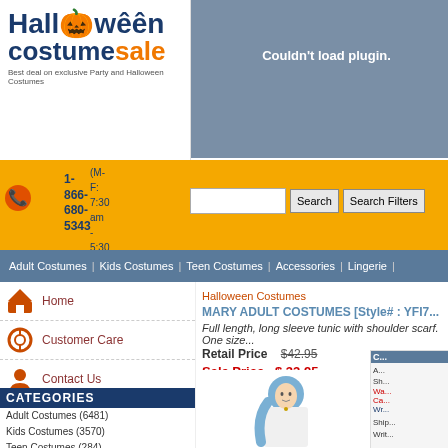[Figure (logo): Halloween Costume Sale logo with pumpkin icon and tagline 'Best deal on exclusive Party and Halloween Costumes']
Couldn't load plugin.
1-866-680-5343 (M-F: 7:30 am - 5:30 pm)
Search | Search Filters
Adult Costumes | Kids Costumes | Teen Costumes | Accessories | Lingerie |
Home
Customer Care
Contact Us
My Orders
CATEGORIES
Adult Costumes (6481)
Kids Costumes (3570)
Teen Costumes (284)
Accessories (7500)
Halloween Costumes
MARY ADULT COSTUMES [Style# : YFI7...
Full length, long sleeve tunic with shoulder scarf. One size...
Retail Price $42.95
Sale Price $ 33.95
[Figure (photo): Woman wearing a white long-sleeve tunic with blue shoulder scarf - Mary costume]